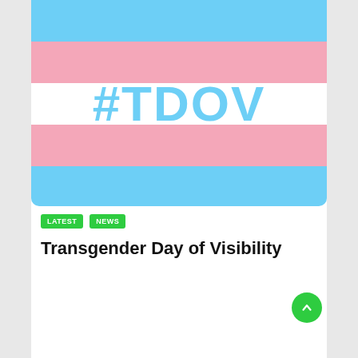[Figure (illustration): Transgender pride flag with light blue, pink, and white horizontal stripes. The white center stripe contains the text '#TDOV' in large light blue bold letters.]
LATEST
NEWS
Transgender Day of Visibility